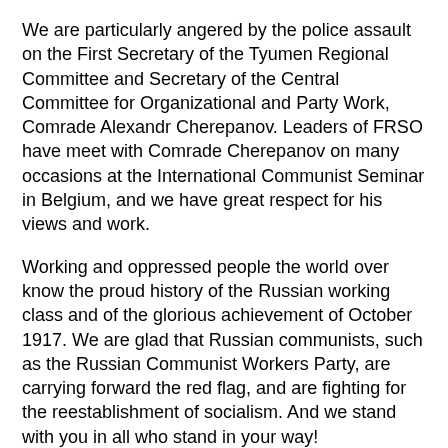We are particularly angered by the police assault on the First Secretary of the Tyumen Regional Committee and Secretary of the Central Committee for Organizational and Party Work, Comrade Alexandr Cherepanov. Leaders of FRSO have meet with Comrade Cherepanov on many occasions at the International Communist Seminar in Belgium, and we have great respect for his views and work.
Working and oppressed people the world over know the proud history of the Russian working class and of the glorious achievement of October 1917. We are glad that Russian communists, such as the Russian Communist Workers Party, are carrying forward the red flag, and are fighting for the reestablishment of socialism. And we stand with you in all who stand in your way!
With Communist Greetings,